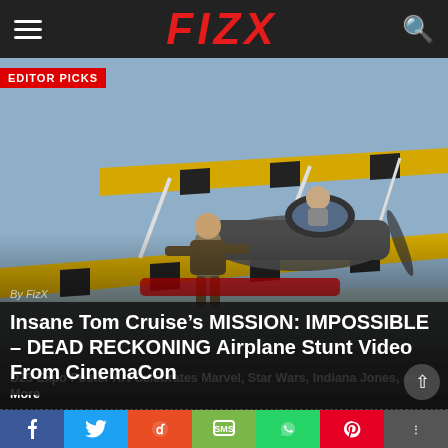FIZX
[Figure (photo): Tom Cruise performing a stunt on a yellow biplane in flight, with a passenger visible in the cockpit above. The plane has yellow and black striped wings on a blue sky background.]
EDITOR PICKS
By FizX
Insane Tom Cruise’s MISSION: IMPOSSIBLE – DEAD RECKONING Airplane Stunt Video From CinemaCon
D23 Expo Poster Art Celebrates Marvel, Star Wars, Indiana Jones, and More
Mark Hamill Works the Jack In the Box Drive-Thru Doing Clown